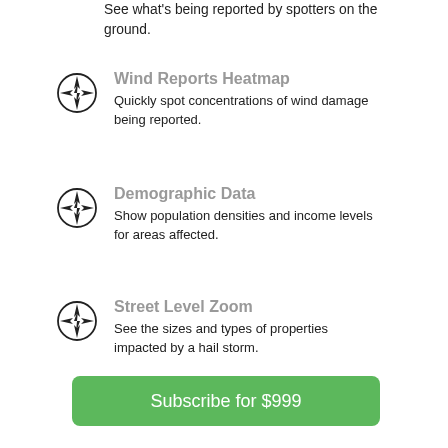See what's being reported by spotters on the ground.
Wind Reports Heatmap
Quickly spot concentrations of wind damage being reported.
Demographic Data
Show population densities and income levels for areas affected.
Street Level Zoom
See the sizes and types of properties impacted by a hail storm.
Subscribe for $999